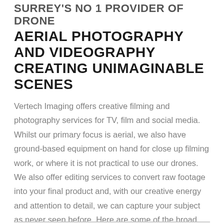SURREY'S NO 1 PROVIDER OF DRONE AERIAL PHOTOGRAPHY AND VIDEOGRAPHY CREATING UNIMAGINABLE SCENES
Vertech Imaging offers creative filming and photography services for TV, film and social media. Whilst our primary focus is aerial, we also have ground-based equipment on hand for close up filming work, or where it is not practical to use our drones. We also offer editing services to convert raw footage into your final product and, with our creative energy and attention to detail, we can capture your subject as never seen before. Here are some of the broad categories we service, please refer to our Portfolio page for examples.